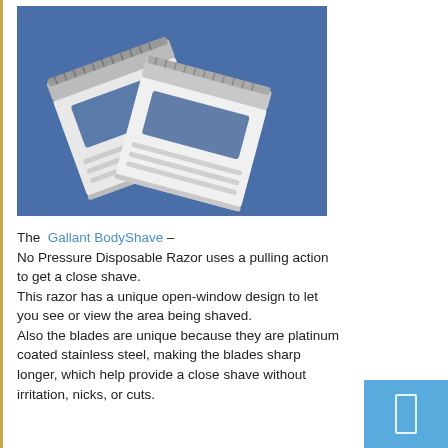[Figure (photo): Two white disposable razor heads (Gallant BodyShave) shown on a blue background, overlapping each other diagonally.]
The Gallant BodyShave – No Pressure Disposable Razor uses a pulling action to get a close shave. This razor has a unique open-window design to let you see or view the area being shaved. Also the blades are unique because they are platinum coated stainless steel, making the blades sharp longer, which help provide a close shave without irritation, nicks, or cuts.